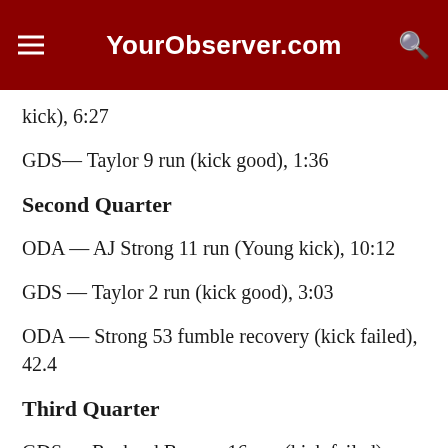YourObserver.com
kick), 6:27
GDS— Taylor 9 run (kick good), 1:36
Second Quarter
ODA — AJ Strong 11 run (Young kick), 10:12
GDS — Taylor 2 run (kick good), 3:03
ODA — Strong 53 fumble recovery (kick failed), 42.4
Third Quarter
GDS — Roshard Burney 16 run (kick failed), 7:07